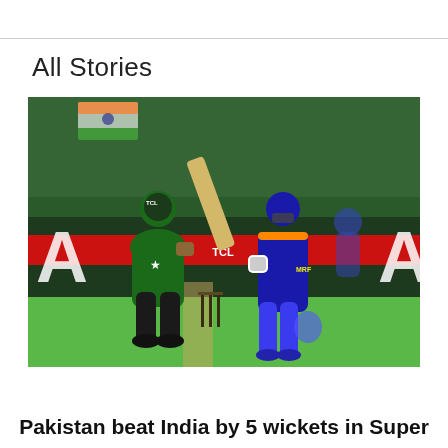All Stories
[Figure (photo): Cricket match photo showing a Pakistan batsman in green uniform playing a shot, with an Indian wicket-keeper in blue uniform behind the stumps. Stadium background with crowd and advertising boards visible.]
Pakistan beat India by 5 wickets in Super